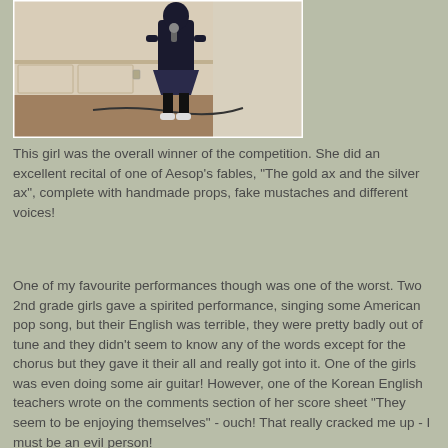[Figure (photo): A girl standing in a room holding a microphone, wearing dark clothing and white sneakers. The room has white wainscoting walls and a wooden floor with cables on the ground.]
This girl was the overall winner of the competition. She did an excellent recital of one of Aesop's fables, "The gold ax and the silver ax", complete with handmade props, fake mustaches and different voices!
One of my favourite performances though was one of the worst. Two 2nd grade girls gave a spirited performance, singing some American pop song, but their English was terrible, they were pretty badly out of tune and they didn't seem to know any of the words except for the chorus but they gave it their all and really got into it. One of the girls was even doing some air guitar! However, one of the Korean English teachers wrote on the comments section of her score sheet "They seem to be enjoying themselves" - ouch! That really cracked me up - I must be an evil person!